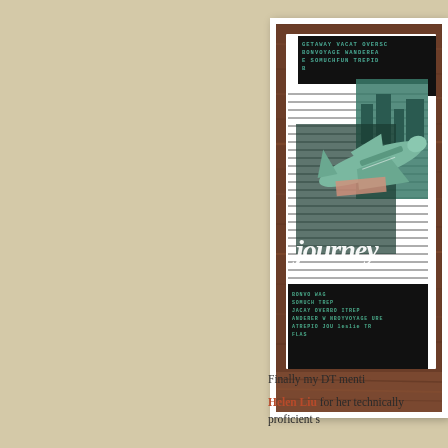[Figure (photo): A scrapbooking craft project photo showing a travel-themed card with a green airplane shape, 'journey' cursive text in white, dark word-collage background panels with travel words (GETAWAY, VACATION, BONVOYAGE, WANDERER, TREPID, etc.), and striped paper, displayed on a wooden surface background.]
Finally my DT menti
Helen Liu for her technically proficient s